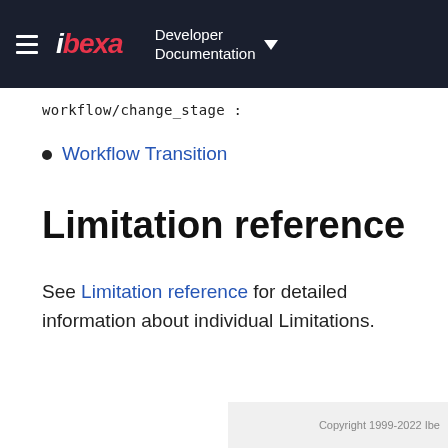ibeka Developer Documentation
workflow/change_stage :
Workflow Transition
Limitation reference
See Limitation reference for detailed information about individual Limitations.
Copyright 1999-2022 Ibe...